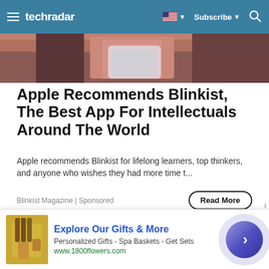techradar | Subscribe
[Figure (photo): Partial view of person in red top holding a white smartphone, cropped at bottom of header image]
Apple Recommends Blinkist, The Best App For Intellectuals Around The World
Apple recommends Blinkist for lifelong learners, top thinkers, and anyone who wishes they had more time t...
Blinkist Magazine | Sponsored
[Figure (photo): Four smiling women of diverse backgrounds wearing athletic wear, posing together against a light gray wall]
[Figure (infographic): Advertisement banner: Explore Our Gifts & More - Personalized Gifts - Spa Baskets - Get Sets - www.1800flowers.com, with product image and circular arrow button]